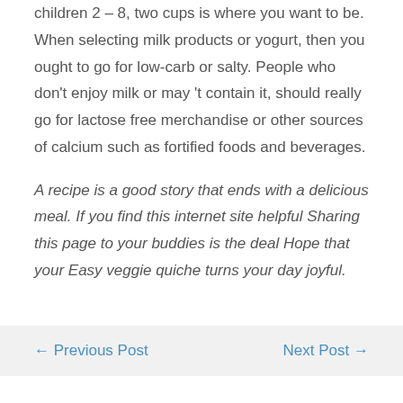children 2 – 8, two cups is where you want to be. When selecting milk products or yogurt, then you ought to go for low-carb or salty. People who don't enjoy milk or may 't contain it, should really go for lactose free merchandise or other sources of calcium such as fortified foods and beverages.
A recipe is a good story that ends with a delicious meal. If you find this internet site helpful Sharing this page to your buddies is the deal Hope that your Easy veggie quiche turns your day joyful.
← Previous Post
Next Post →
Related Posts
Instructions to Preparing Delicious Two